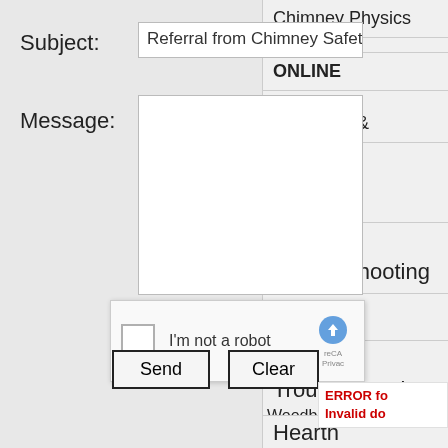Subject:
Referral from Chimney Safety Institute o
ONLINE
Diagnosis &
Message:
Installing &
Troubleshooting
I'm not a robot
Installing &
Troubleshooting (Date: 8/24/
Woodburn
Hearth
Appliances
ERROR fo
Invalid do
Send
Clear
Chimney Physics